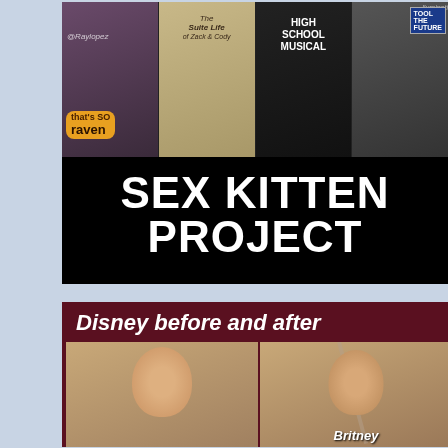[Figure (photo): Collage of Disney Channel show logos and performers (That's So Raven, The Suite Life of Zack and Cody, High School Musical, and partial text 'lluminati') with large bold white text overlay reading 'SEX KITTEN PROJECT' on black background]
[Figure (photo): Meme image with dark red background header reading 'Disney before and after' in white italic text, showing two photos: a young smiling girl on left and an older woman on right, with caption 'Britney' at the bottom center]